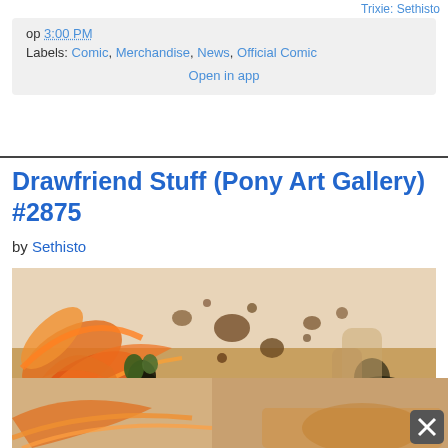Trixie: Sethisto
op 3:00 PM
Labels: Comic, Merchandise, News, Official Comic
Open in app
Drawfriend Stuff (Pony Art Gallery) #2875
by Sethisto
[Figure (illustration): Fantasy action illustration showing a dark pony character surrounded by swirling orange fire and flames with rocks and debris flying around against a warm beige/orange background]
[Figure (illustration): Continuation of the same fantasy action illustration with orange flames and warm tones, with a close button (X) overlay in the bottom right corner]